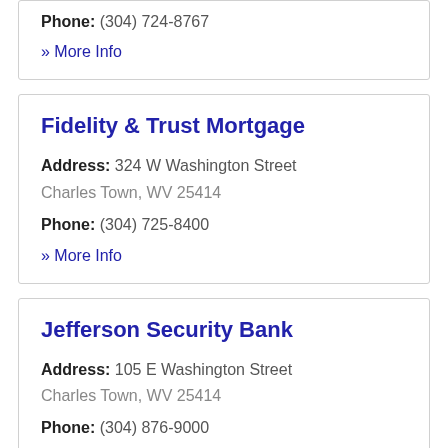Phone: (304) 724-8767
» More Info
Fidelity & Trust Mortgage
Address: 324 W Washington Street Charles Town, WV 25414
Phone: (304) 725-8400
» More Info
Jefferson Security Bank
Address: 105 E Washington Street Charles Town, WV 25414
Phone: (304) 876-9000
» More Info